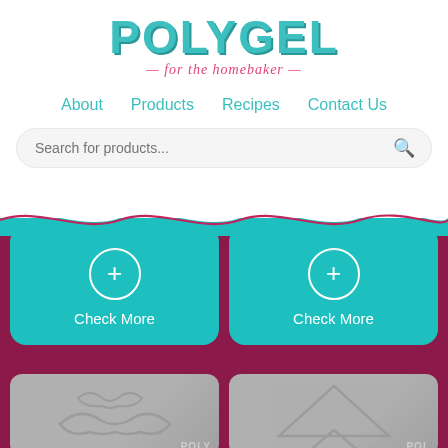POLYGEL — for the homebaker —
About   Products   Recipes   Contact Us
Search for products...
[Figure (screenshot): Two teal product cards each with a circled plus icon and 'Check More' label, displayed on a dark maroon background with a wave divider above]
[Figure (photo): Metallic cookie cutter in mustache/lips shape on grey background with Polygel watermark]
[Figure (photo): Metallic cookie cutter in triangle/tree shape on grey background with Polygel watermark]